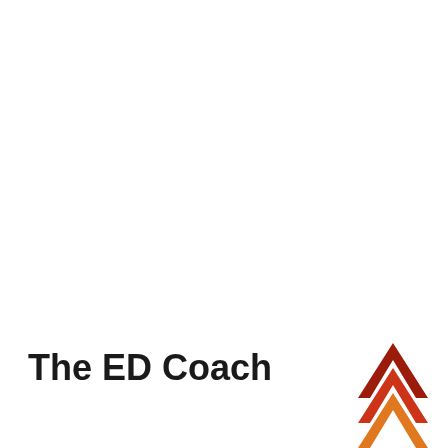The ED Coach
[Figure (logo): Stacked chevron/arrow logo with three layers: top layer dark red, middle layer medium red, bottom layer orange, forming an upward-pointing arrow shape in the bottom-right corner]